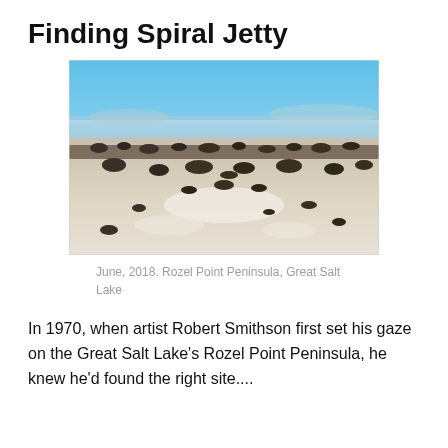Finding Spiral Jetty
[Figure (photo): Photograph of the Spiral Jetty at Rozel Point Peninsula, Great Salt Lake. The image shows a low, flat lakeside landscape with dark volcanic rocks arranged in a spiral pattern on pale dried salt flats, under a clear blue sky with distant mountains on the horizon.]
June, 2018. Rozel Point Peninsula, Great Salt Lake
In 1970, when artist Robert Smithson first set his gaze on the Great Salt Lake's Rozel Point Peninsula, he knew he'd found the right site....